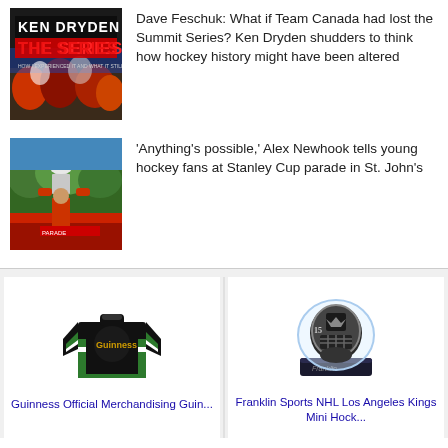[Figure (illustration): Ken Dryden The Series book cover with crowd celebrating]
Dave Feschuk: What if Team Canada had lost the Summit Series? Ken Dryden shudders to think how hockey history might have been altered
[Figure (photo): Person holding Stanley Cup at outdoor parade with trees in background]
'Anything's possible,' Alex Newhook tells young hockey fans at Stanley Cup parade in St. John's
[Figure (photo): Guinness Official Merchandise black and green hockey jersey]
Guinness Official Merchandising Guin...
[Figure (photo): Franklin Sports NHL Los Angeles Kings mini hockey goalie mask on display stand]
Franklin Sports NHL Los Angeles Kings Mini Hock...